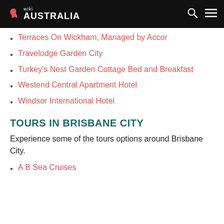wiki AUSTRALIA
Terraces On Wickham, Managed by Accor
Travelodge Garden City
Turkey's Nest Garden Cottage Bed and Breakfast
Westend Central Apartment Hotel
Windsor International Hotel
TOURS IN BRISBANE CITY
Experience some of the tours options around Brisbane City.
A B Sea Cruises